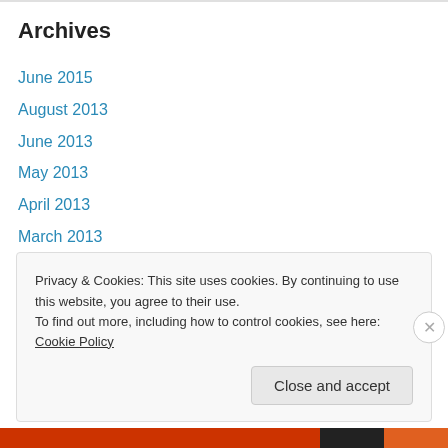Archives
June 2015
August 2013
June 2013
May 2013
April 2013
March 2013
February 2013
January 2013
December 2012
November 2012
October 2012
Privacy & Cookies: This site uses cookies. By continuing to use this website, you agree to their use.
To find out more, including how to control cookies, see here: Cookie Policy
Close and accept